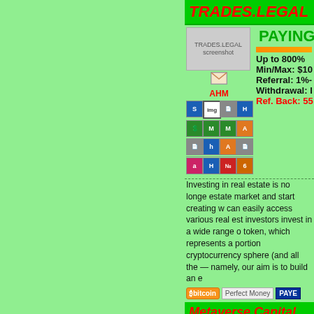TRADES.LEGAL
[Figure (screenshot): TRADES.LEGAL website screenshot thumbnail]
PAYING
Up to 800%
Min/Max: $10
Referral: 1%-
Withdrawal: I
Ref. Back: 55
AHM
[Figure (infographic): Payment processor icons grid (STP, Perfect Money, Payeer, HYIPbux, MoneyGram, etc.)]
Investing in real estate is no longe estate market and start creating w can easily access various real est investors invest in a wide range o token, which represents a portion cryptocurrency sphere (and all the — namely, our aim is to build an e
[Figure (infographic): Payment logos: Bitcoin, Perfect Money, PAYEER]
Metaverse Capital Ltd
[Figure (screenshot): Metaverse Capital Ltd website screenshot thumbnail]
PAYING
21% - Dail
600% Afte
Min/Max: $10
AHM